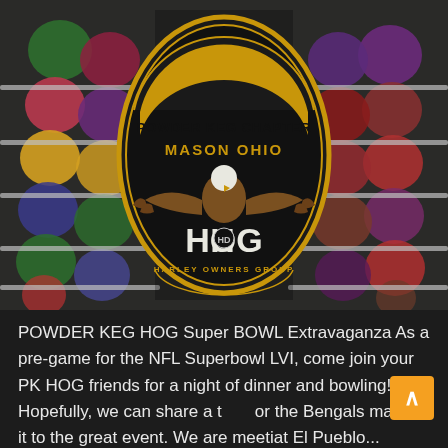[Figure (photo): Bowling ball rack with colorful balls and overlaid HOG (Harley Owners Group) Powder Keg Chapter Mason Ohio logo badge featuring an eagle]
POWDER KEG HOG Super BOWL Extravaganza As a pre-game for the NFL Superbowl LVI, come join your PK HOG friends for a night of dinner and bowling!  Hopefully, we can share a toast for the Bengals making it to the great event. We are meeting at El Pueblo... (reservation under PK Hog, Ann Cornett) for mojitos